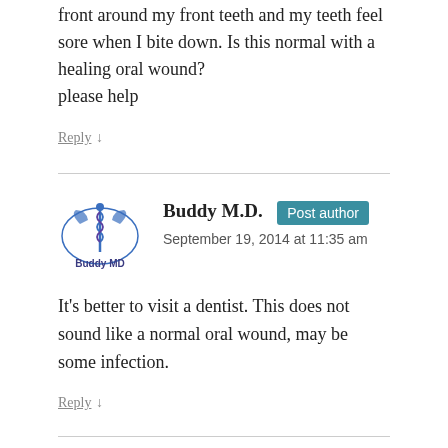front around my front teeth and my teeth feel sore when I bite down. Is this normal with a healing oral wound?
please help
Reply ↓
[Figure (logo): Buddy MD logo with caduceus symbol and text 'Buddy MD']
Buddy M.D.  Post author
September 19, 2014 at 11:35 am
It's better to visit a dentist. This does not sound like a normal oral wound, may be some infection.
Reply ↓
[Figure (illustration): Generic user avatar silhouette on gray background]
serafin
September 24, 2014 at 3:31 am